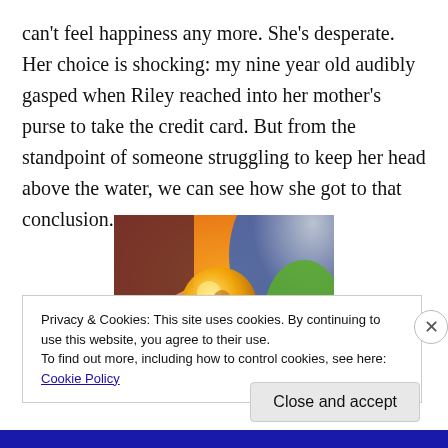can't feel happiness any more. She's desperate. Her choice is shocking: my nine year old audibly gasped when Riley reached into her mother's purse to take the credit card. But from the standpoint of someone struggling to keep her head above the water, we can see how she got to that conclusion.
[Figure (illustration): Animated illustration showing a character holding a glowing golden orb, with orange and blue background, appears to be from an animated film.]
Privacy & Cookies: This site uses cookies. By continuing to use this website, you agree to their use.
To find out more, including how to control cookies, see here: Cookie Policy